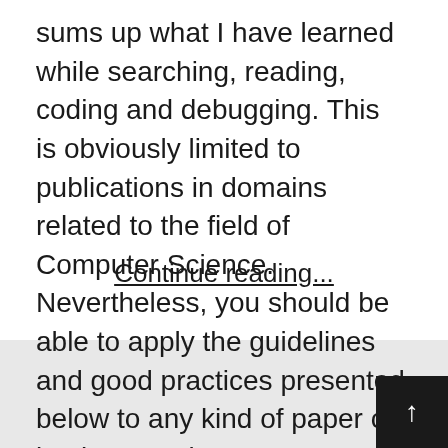sums up what I have learned while searching, reading, coding and debugging. This is obviously limited to publications in domains related to the field of Computer Science. Nevertheless, you should be able to apply the guidelines and good practices presented below to any kind of paper or implementation.
Continue reading...